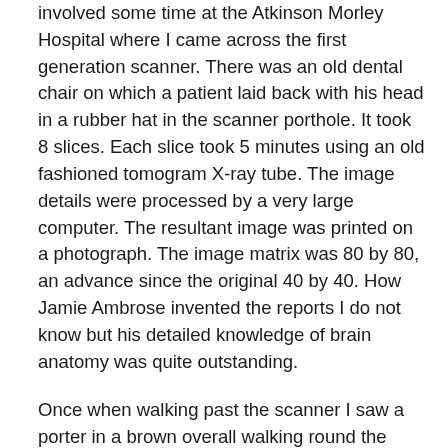involved some time at the Atkinson Morley Hospital where I came across the first generation scanner. There was an old dental chair on which a patient laid back with his head in a rubber hat in the scanner porthole. It took 8 slices. Each slice took 5 minutes using an old fashioned tomogram X-ray tube. The image details were processed by a very large computer. The resultant image was printed on a photograph. The image matrix was 80 by 80, an advance since the original 40 by 40. How Jamie Ambrose invented the reports I do not know but his detailed knowledge of brain anatomy was quite outstanding.
Once when walking past the scanner I saw a porter in a brown overall walking round the machine. Being concerned about security, I spoke to Jamie Ambrose. “Don’t worry about him,” he said, ‘“That’s only Godfrey” (Hounsfield from EMI).